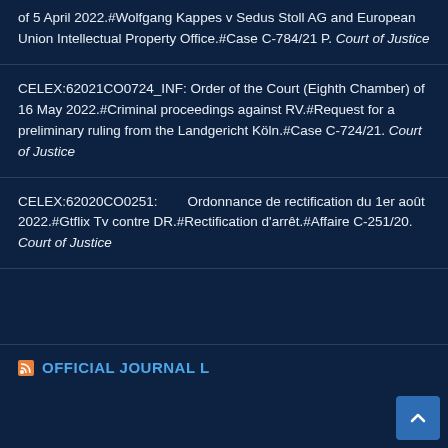of 5 April 2022.#Wolfgang Kappes v Sedus Stoll AG and European Union Intellectual Property Office.#Case C-784/21 P. Court of Justice
CELEX:62021CO0724_INF: Order of the Court (Eighth Chamber) of 16 May 2022.#Criminal proceedings against RV.#Request for a preliminary ruling from the Landgericht Köln.#Case C-724/21. Court of Justice
CELEX:62020CO0251:        Ordonnance de rectification du 1er août 2022.#Gtflix Tv contre DR.#Rectification d'arrêt.#Affaire C-251/20. Court of Justice
OFFICIAL JOURNAL L